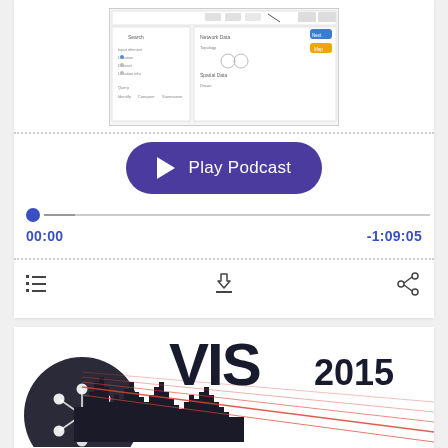[Figure (screenshot): Software interface screenshot showing a data visualization tool with search, query, network data, and spatial data panels]
[Figure (infographic): Play Podcast button (purple pill-shaped button with play triangle icon and text 'Play Podcast'), audio progress bar at 00:00 with total time -1:09:05, and media control icons (list, download, share)]
[Figure (logo): VIS 2015 conference logo with city skyline silhouette and network graph icon]